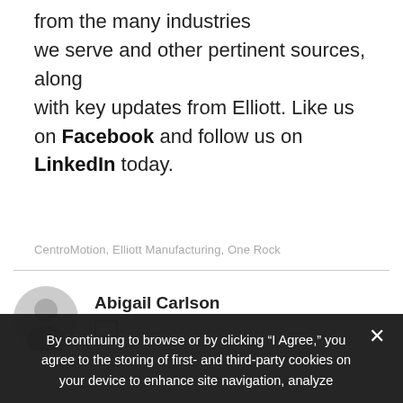from the many industries we serve and other pertinent sources, along with key updates from Elliott. Like us on Facebook and follow us on LinkedIn today.
CentroMotion, Elliott Manufacturing, One Rock
Abigail Carlson
By continuing to browse or by clicking “I Agree,” you agree to the storing of first- and third-party cookies on your device to enhance site navigation, analyze